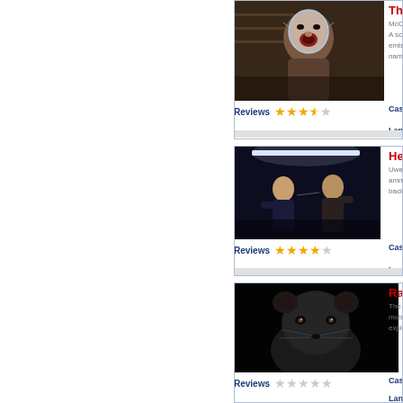[Figure (photo): Movie still from first film showing a person with a clear mask over their face]
The
McCa... A scie... emba... name...
Reviews ★★★½☆
Cast
Lang
[Figure (photo): Movie still from second film showing two people fighting in a dimly lit room with fluorescent lighting]
Hea
Uwais... amne... back t...
Reviews ★★★★☆
Cast
Lang
[Figure (photo): Movie still showing a close-up of a rat against dark background]
Rats
The fi... mobs... expla...
Reviews ☆☆☆☆☆
Cast
Lang